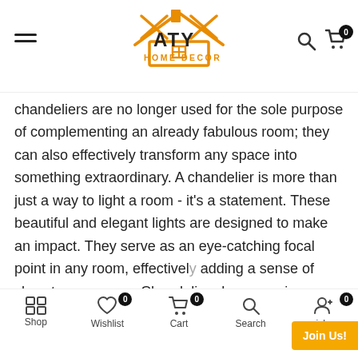ATY HOME DECOR
chandeliers are no longer used for the sole purpose of complementing an already fabulous room; they can also effectively transform any space into something extraordinary. A chandelier is more than just a way to light a room - it's a statement. These beautiful and elegant lights are designed to make an impact. They serve as an eye-catching focal point in any room, effectively adding a sense of class to any space. Chandeliers have a unique ability to tastefully makeover any
Warm White
ADD TO CART
Shop  Wishlist  Cart  Search  Join Us!  ish